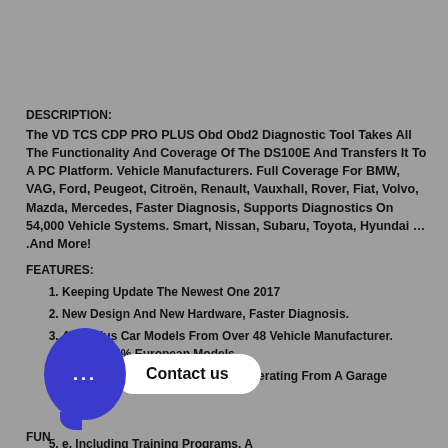DESCRIPTION:
The VD TCS CDP PRO PLUS Obd Obd2 Diagnostic Tool Takes All The Functionality And Coverage Of The DS100E And Transfers It To A PC Platform. Vehicle Manufacturers. Full Coverage For BMW, VAG, Ford, Peugeot, Citroën, Renault, Vauxhall, Rover, Fiat, Volvo, Mazda, Mercedes, Faster Diagnosis, Supports Diagnostics On 54,000 Vehicle Systems. Smart, Nissan, Subaru, Toyota, Hyundai … .And More!
FEATURES:
Keeping Update The Newest One 2017
New Design And New Hardware, Faster Diagnosis.
4000 Plus Car Models From Over 48 Vehicle Manufacturer. Include 85% European Models
Exceptional Value For Money – Operating From A Garage Existing
e, Including Training Programs, A ical Help Line And More.
FUN